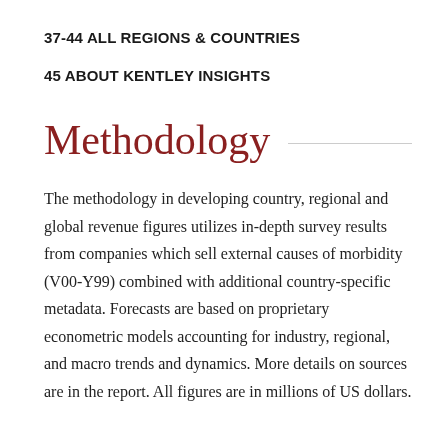37-44 ALL REGIONS & COUNTRIES
45 ABOUT KENTLEY INSIGHTS
Methodology
The methodology in developing country, regional and global revenue figures utilizes in-depth survey results from companies which sell external causes of morbidity (V00-Y99) combined with additional country-specific metadata. Forecasts are based on proprietary econometric models accounting for industry, regional, and macro trends and dynamics. More details on sources are in the report. All figures are in millions of US dollars.